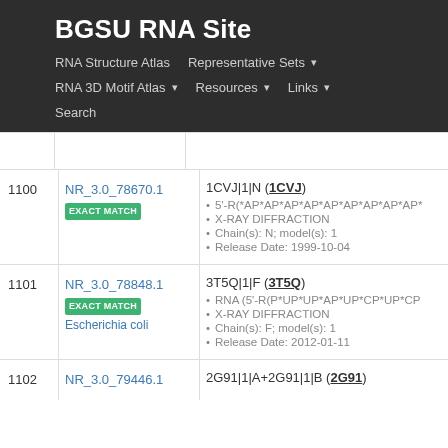BGSU RNA Site
RNA Structure Atlas | Representative Sets | RNA 3D Motif Atlas | Resources | Links | Search
| # | ID | Details |
| --- | --- | --- |
| 1100 | NR_3.0_78670.1
EXACT MATCH | 1CVJ|1|N (1CVJ)
• 5'-R(*AP*AP*AP*AP*AP*AP*AP*AP*AP*
• X-RAY DIFFRACTION
• Chain(s): N; model(s): 1
• Release Date: 1999-10-04 |
| 1101 | NR_3.0_78848.1
EXACT MATCH
Escherichia coli | 3T5Q|1|F (3T5Q)
• RNA (5'-R(P*UP*UP*AP*UP*CP*UP*CP
• X-RAY DIFFRACTION
• Chain(s): F; model(s): 1
• Release Date: 2012-01-11 |
| 1102 | NR_3.0_79446.1 | 2G91|1|A+2G91|1|B (2G91) |